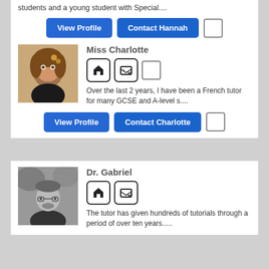students and a young student with Special....
View Profile | Contact Hannah
Miss Charlotte
Over the last 2 years, I have been a French tutor for many GCSE and A-level s....
View Profile | Contact Charlotte
Dr. Gabriel
The tutor has given hundreds of tutorials through a period of over ten years.....